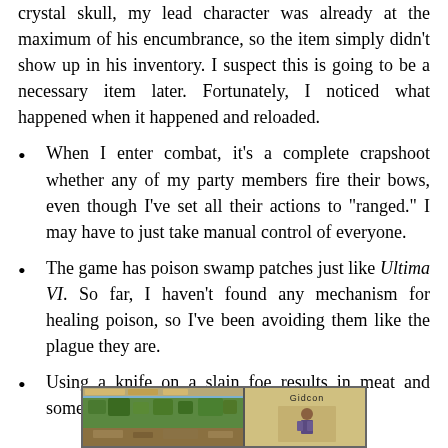crystal skull, my lead character was already at the maximum of his encumbrance, so the item simply didn't show up in his inventory. I suspect this is going to be a necessary item later. Fortunately, I noticed what happened when it happened and reloaded.
When I enter combat, it's a complete crapshoot whether any of my party members fire their bows, even though I've set all their actions to "ranged." I may have to just take manual control of everyone.
The game has poison swamp patches just like Ultima VI. So far, I haven't found any mechanism for healing poison, so I've been avoiding them like the plague they are.
Using a knife on a slain foe results in meat and sometimes hides.
[Figure (screenshot): A screenshot of a retro RPG game showing a top-down game view on the left with trees and terrain, and a character panel on the right showing the name 'Gidcon' and a character figure.]